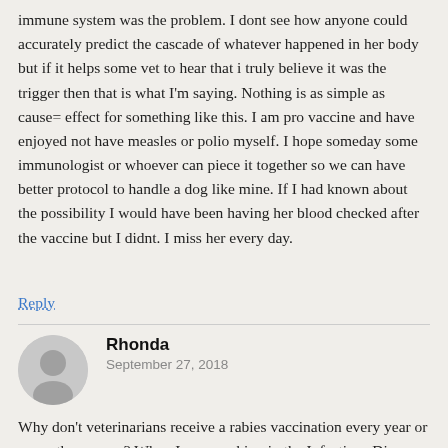immune system was the problem. I dont see how anyone could accurately predict the cascade of whatever happened in her body but if it helps some vet to hear that i truly believe it was the trigger then that is what I'm saying. Nothing is as simple as cause= effect for something like this. I am pro vaccine and have enjoyed not have measles or polio myself. I hope someday some immunologist or whoever can piece it together so we can have better protocol to handle a dog like mine. If I had known about the possibility I would have been having her blood checked after the vaccine but I didnt. I miss her every day.
Reply
Rhonda
September 27, 2018
Why don't veterinarians receive a rabies vaccination every year or every three years? When I was working in the Infectious Disease department of the hospital where I was employed as a registered nurse, I read the WHO (World Health Organization) requirements